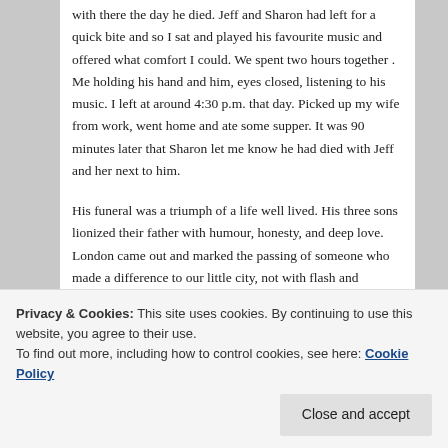with there the day he died. Jeff and Sharon had left for a quick bite and so I sat and played his favourite music and offered what comfort I could. We spent two hours together . Me holding his hand and him, eyes closed, listening to his music. I left at around 4:30 p.m. that day. Picked up my wife from work, went home and ate some supper. It was 90 minutes later that Sharon let me know he had died with Jeff and her next to him.
His funeral was a triumph of a life well lived. His three sons lionized their father with humour, honesty, and deep love. London came out and marked the passing of someone who made a difference to our little city, not with flash and spectacle, but with quiet service and dignity. And his friends, those of years, and those of his life in
Privacy & Cookies: This site uses cookies. By continuing to use this website, you agree to their use. To find out more, including how to control cookies, see here: Cookie Policy
strength of serving community, and it pointed to the